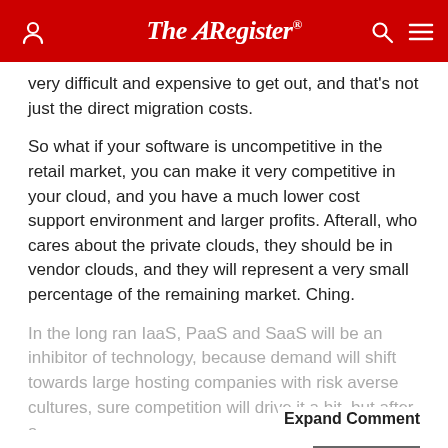The Register
very difficult and expensive to get out, and that's not just the direct migration costs.
So what if your software is uncompetitive in the retail market, you can make it very competitive in your cloud, and you have a much lower cost support environment and larger profits. Afterall, who cares about the private clouds, they should be in vendor clouds, and they will represent a very small percentage of the remaining market. Ching.
In the long ran IaaS, PaaS and SaaS will be an inhibitor of technology, because demand will shift towards large hosting companies with risk averse cultures, sure competition will drive it a bit, but after a
Expand Comment
↑3  ↓0
Reply
Thursday 18th December 2014 13:02 GMT
DaLo